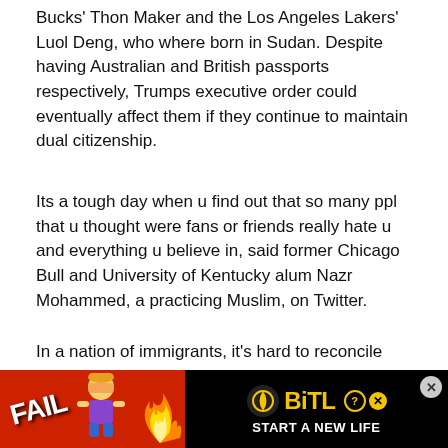Bucks' Thon Maker and the Los Angeles Lakers' Luol Deng, who where born in Sudan. Despite having Australian and British passports respectively, Trumps executive order could eventually affect them if they continue to maintain dual citizenship.
Its a tough day when u find out that so many ppl that u thought were fans or friends really hate u and everything u believe in, said former Chicago Bull and University of Kentucky alum Nazr Mohammed, a practicing Muslim, on Twitter.
In a nation of immigrants, it's hard to reconcile this current sweep of xenophobia that has resurfaced en mass since Trump took office. But then again, for people who understand the tru... not surpris...
[Figure (screenshot): Advertisement banner at the bottom: red background with 'FAIL' text and cartoon figure on left, flames, then black section with BitLife logo (ball icon), question mark circle, X circle, and 'START A NEW LIFE' tagline. Close X button at far right.]